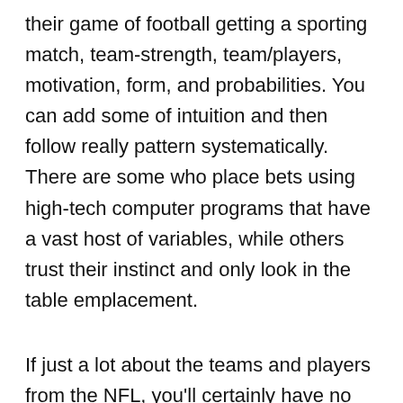their game of football getting a sporting match, team-strength, team/players, motivation, form, and probabilities. You can add some of intuition and then follow really pattern systematically. There are some who place bets using high-tech computer programs that have a vast host of variables, while others trust their instinct and only look in the table emplacement.
If just a lot about the teams and players from the NFL, you'll certainly have no trouble deciding by which team to position wagers. Each day do so that you can start gaining profits would be to buy a good sportsbook features something that you think to a good techniques. If you do not have sufficient know concerning the league, teams and players, you have access to handicapping tools. You may also search the web for free football selects. For instance, you can find causes of NFL free football picks at blogs...